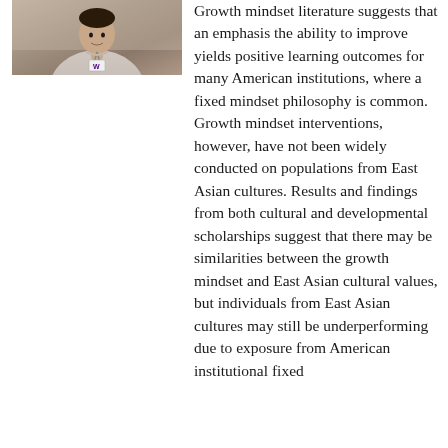[Figure (photo): A person wearing a lanyard/badge, standing in front of what appears to be a building or institutional setting. Partial view of the upper body.]
Growth mindset literature suggests that an emphasis the ability to improve yields positive learning outcomes for many American institutions, where a fixed mindset philosophy is common. Growth mindset interventions, however, have not been widely conducted on populations from East Asian cultures. Results and findings from both cultural and developmental scholarships suggest that there may be similarities between the growth mindset and East Asian cultural values, but individuals from East Asian cultures may still be underperforming due to exposure from American institutional fixed